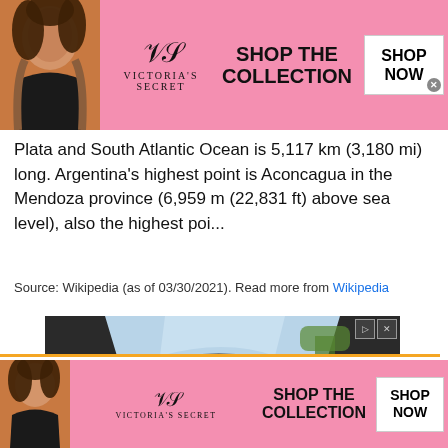[Figure (screenshot): Victoria's Secret advertisement banner (pink background, model, VS logo, SHOP THE COLLECTION text, SHOP NOW button)]
Plata and South Atlantic Ocean is 5,117 km (3,180 mi) long. Argentina's highest point is Aconcagua in the Mendoza province (6,959 m (22,831 ft) above sea level), also the highest poi...
Source: Wikipedia (as of 03/30/2021). Read more from Wikipedia
[Figure (screenshot): Car interior advertisement showing brown leather seats from interior dashboard view]
This site uses cookies and other similar technologies to provide site functionality, analyze traffic and usage, and
[Figure (screenshot): Victoria's Secret advertisement banner at bottom (pink background, model, VS logo, SHOP THE COLLECTION text, SHOP NOW button)]